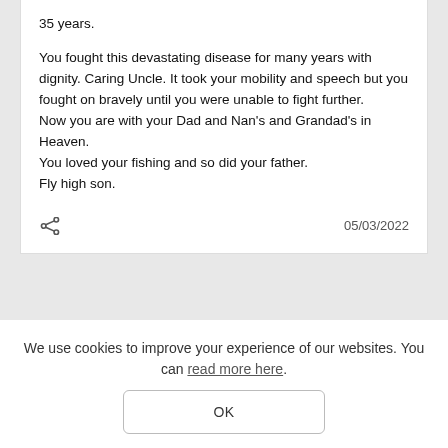35 years.

You fought this devastating disease for many years with dignity. Caring Uncle. It took your mobility and speech but you fought on bravely until you were unable to fight further.
Now you are with your Dad and Nan's and Grandad's in Heaven.
You loved your fishing and so did your father.
Fly high son.

05/03/2022
We use cookies to improve your experience of our websites. You can read more here.
OK